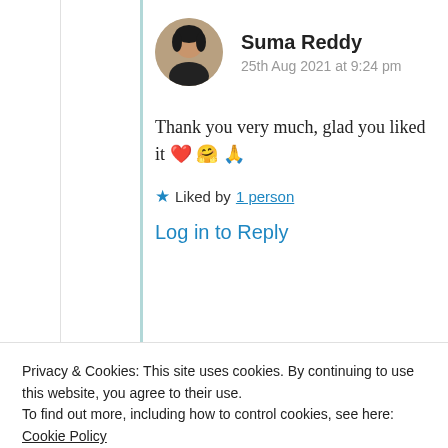[Figure (photo): Circular avatar photo of Suma Reddy, a woman with dark hair]
Suma Reddy
25th Aug 2021 at 9:24 pm
Thank you very much, glad you liked it ❤️ 🤗 🙏
★ Liked by 1 person
Log in to Reply
Privacy & Cookies: This site uses cookies. By continuing to use this website, you agree to their use.
To find out more, including how to control cookies, see here: Cookie Policy
Close and accept